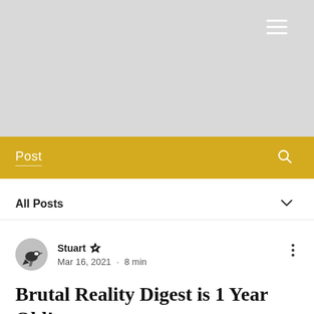[Figure (screenshot): Gray header banner with white hamburger menu icon in top-right corner]
Post
All Posts
Stuart · Mar 16, 2021 · 8 min
Brutal Reality Digest is 1 Year Old!
It's been twelve months since the first issue